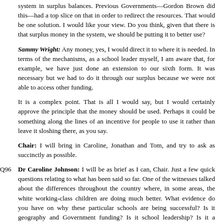system in surplus balances. Previous Governments—Gordon Brown did this—had a top slice on that in order to redirect the resources. That would be one solution. I would like your view. Do you think, given that there is that surplus money in the system, we should be putting it to better use?
Sammy Wright: Any money, yes, I would direct it to where it is needed. In terms of the mechanisms, as a school leader myself, I am aware that, for example, we have just done an extension to our sixth form. It was necessary but we had to do it through our surplus because we were not able to access other funding.
It is a complex point. That is all I would say, but I would certainly approve the principle that the money should be used. Perhaps it could be something along the lines of an incentive for people to use it rather than leave it sloshing there, as you say.
Chair: I will bring in Caroline, Jonathan and Tom, and try to ask as succinctly as possible.
Q96   Dr Caroline Johnson: I will be as brief as I can, Chair. Just a few quick questions relating to what has been said so far. One of the witnesses talked about the differences throughout the country where, in some areas, the white working-class children are doing much better. What evidence do you have on why these particular schools are being successful? Is it geography and Government funding? Is it school leadership? Is it a culture among parents? What do you think it is?